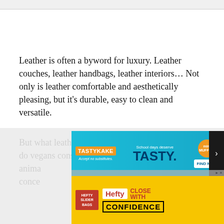Leather is often a byword for luxury. Leather couches, leather handbags, leather interiors… Not only is leather comfortable and aesthetically pleasing, but it's durable, easy to clean and versatile.
But what leather isn't is vegan-friendly. Not only do vegans consider leather to be a clear-cut case of animal... leather products... conce... re
[Figure (other): Tastykake advertisement banner: 'School days deserve TASTY.' with FIND NOW button and mini muffins image]
[Figure (other): Hefty Slider Bags advertisement: 'Hefty CLOSE WITH CONFIDENCE' on yellow background]